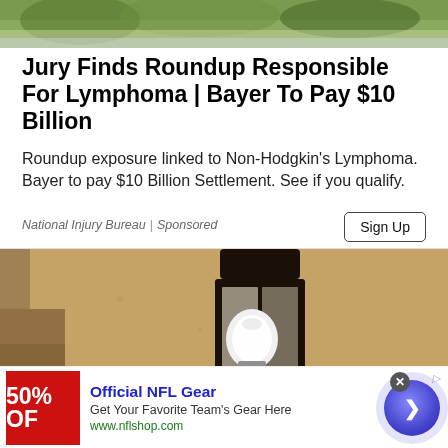[Figure (photo): Top portion of a nature/outdoor scene with green foliage and sky, partially visible]
Jury Finds Roundup Responsible For Lymphoma | Bayer To Pay $10 Billion
Roundup exposure linked to Non-Hodgkin's Lymphoma. Bayer to pay $10 Billion Settlement. See if you qualify.
National Injury Bureau | Sponsored
[Figure (photo): Close-up photo of an outdoor wall-mounted lantern light fixture with a bright light bulb visible inside a black metal frame, mounted on a stucco wall]
[Figure (photo): Advertisement banner for Official NFL Gear showing a red background with '50% OFF' text, NFL gear promotion with www.nflshop.com, and a circular blue arrow button]